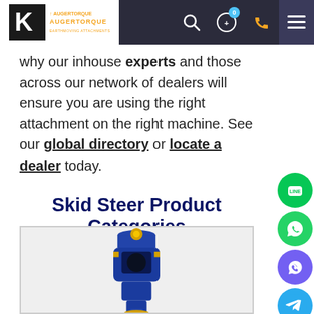AugerTorque / Kinshofer - Navigation header with logo, search, cart, phone, and menu icons
why our inhouse experts and those across our network of dealers will ensure you are using the right attachment on the right machine. See our global directory or locate a dealer today.
Skid Steer Product Categories
[Figure (photo): Blue AugerTorque 4500 Earth Drill attachment product photo on light grey background]